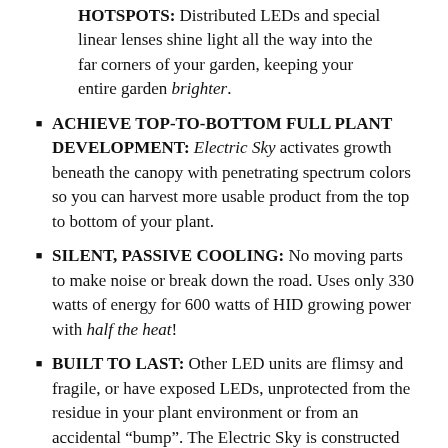HOTSPOTS: Distributed LEDs and special linear lenses shine light all the way into the far corners of your garden, keeping your entire garden brighter.
ACHIEVE TOP-TO-BOTTOM FULL PLANT DEVELOPMENT: Electric Sky activates growth beneath the canopy with penetrating spectrum colors so you can harvest more usable product from the top to bottom of your plant.
SILENT, PASSIVE COOLING: No moving parts to make noise or break down the road. Uses only 330 watts of energy for 600 watts of HID growing power with half the heat!
BUILT TO LAST: Other LED units are flimsy and fragile, or have exposed LEDs, unprotected from the residue in your plant environment or from an accidental “bump”. The Electric Sky is constructed out of a solid piece of aluminum, and its easy-to-clean lenses protect the LEDs, so you never have to worry about accidental damage to your investment...
Bonuses and Accessories: